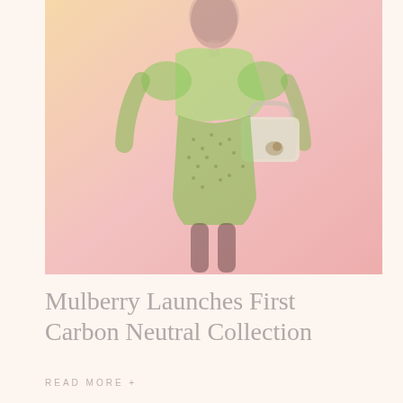[Figure (photo): A woman wearing a green off-shoulder top and green tweed mini skirt, holding a white handbag, photographed against a warm pink-to-peach gradient background.]
Mulberry Launches First Carbon Neutral Collection
READ MORE +